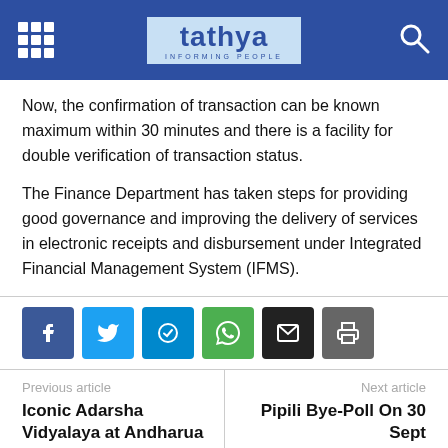tathya INFORMING PEOPLE
Now, the confirmation of transaction can be known maximum within 30 minutes and there is a facility for double verification of transaction status.
The Finance Department has taken steps for providing good governance and improving the delivery of services in electronic receipts and disbursement under Integrated Financial Management System (IFMS).
Previous article: Iconic Adarsha Vidyalaya at Andharua | Next article: Pipili Bye-Poll On 30 Sept